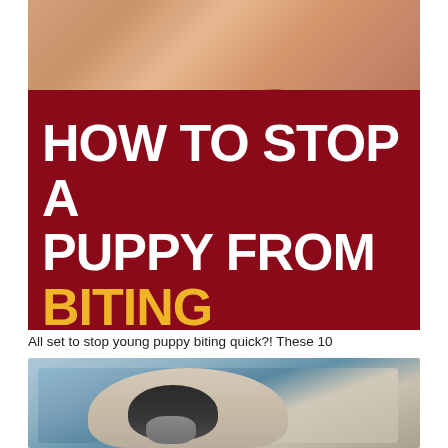[Figure (photo): Photo of elderly hands with a puppy biting/nipping, overlaid with dark red banner reading 'HOW TO STOP A PUPPY FROM BITING AND NIPPING' in large bold white and gold text]
All set to stop young puppy biting quick?! These 10
[Figure (photo): Photo of a small puppy, appears to be lying down, partially visible at bottom of page]